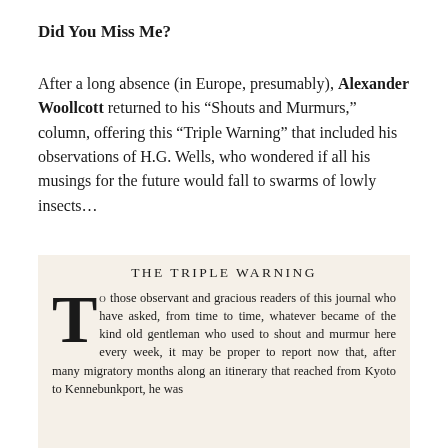Did You Miss Me?
After a long absence (in Europe, presumably), Alexander Woollcott returned to his “Shouts and Murmurs,” column, offering this “Triple Warning” that included his observations of H.G. Wells, who wondered if all his musings for the future would fall to swarms of lowly insects…
THE TRIPLE WARNING
To those observant and gracious readers of this journal who have asked, from time to time, whatever became of the kind old gentleman who used to shout and murmur here every week, it may be proper to report now that, after many migratory months along an itinerary that reached from Kyoto to Kennebunkport, he was